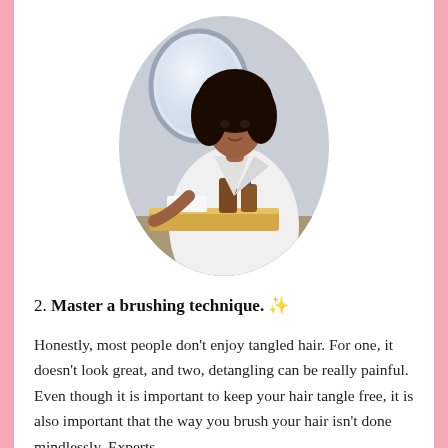[Figure (photo): A woman with curly hair wearing a white bathrobe, holding a wooden tray with amber bottles (dispensers) and other items. She is standing in front of a round oval mirror in a bathroom setting.]
2. Master a brushing technique. ✨
Honestly, most people don't enjoy tangled hair. For one, it doesn't look great, and two, detangling can be really painful. Even though it is important to keep your hair tangle free, it is also important that the way you brush your hair isn't done mindlessly. Experts